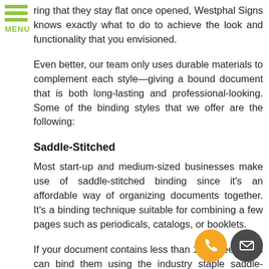ring that they stay flat once opened, Westphal Signs knows exactly what to do to achieve the look and functionality that you envisioned.
Even better, our team only uses durable materials to complement each style—giving a bound document that is both long-lasting and professional-looking. Some of the binding styles that we offer are the following:
Saddle-Stitched
Most start-up and medium-sized businesses make use of saddle-stitched binding since it's an affordable way of organizing documents together. It's a binding technique suitable for combining a few pages such as periodicals, catalogs, or booklets.
If your document contains less than 100 sheets, you can bind them using the industry staple saddle-stitched binding. You can choose any side you want to get stitched, depending on how you want it to organize. Additionally, saddle-stitch will also keep your printables flat once it's